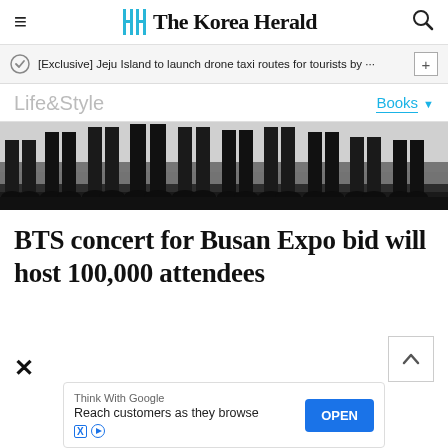The Korea Herald
[Exclusive] Jeju Island to launch drone taxi routes for tourists by ···
Life&Style
Books
[Figure (photo): Photo of multiple people standing, showing only their legs and feet from the knees down, wearing formal dark suits and dress shoes, against a light background]
BTS concert for Busan Expo bid will host 100,000 attendees
Think With Google
Reach customers as they browse
OPEN